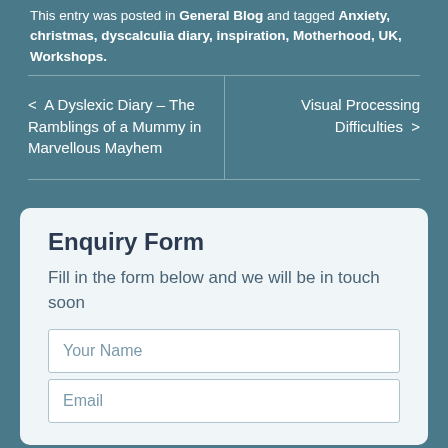This entry was posted in General Blog and tagged Anxiety, christmas, dyscalculia diary, inspiration, Motherhood, UK, Workshops.
< A Dyslexic Diary – The Ramblings of a Mummy in Marvellous Mayhem
Visual Processing Difficulties >
Enquiry Form
Fill in the form below and we will be in touch soon
Your Name
Email